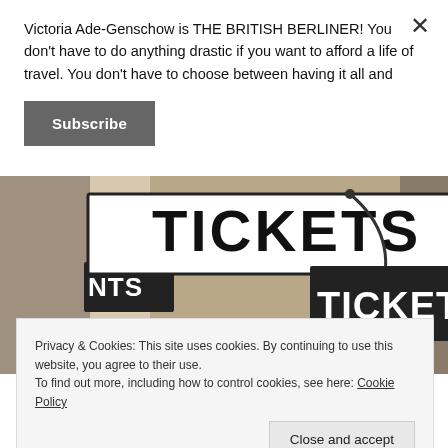Victoria Ade-Genschow is THE BRITISH BERLINER! You don't have to do anything drastic if you want to afford a life of travel. You don't have to choose between having it all and
Subscribe
[Figure (photo): Photo of black-and-white TICKETS signs mounted on a building exterior, with ornate iron bracket and architectural details visible.]
Privacy & Cookies: This site uses cookies. By continuing to use this website, you agree to their use.
To find out more, including how to control cookies, see here: Cookie Policy
Close and accept
The cheapest way to ease into buying train tickets through